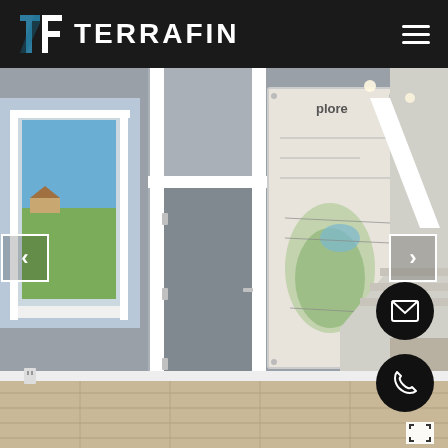TERRAFIN — navigation header with logo and hamburger menu
[Figure (photo): Interior photo of a home showing a hallway with white door frame, a window with outdoor view, and a large acrylic wall map panel labeled 'Explore' mounted on the wall beside a staircase. The space has grey walls, wood flooring, and recessed lighting.]
[Figure (other): Left navigation arrow chevron in a white outlined box]
[Figure (other): Right navigation arrow chevron in a white outlined box]
[Figure (other): Floating email button (envelope icon) — black circle]
[Figure (other): Floating phone button (handset icon) — black circle]
[Figure (other): Expand/fullscreen icon in white box at bottom right]